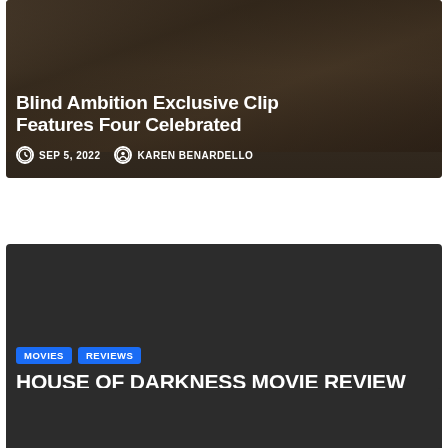[Figure (photo): Partial article card with people running outdoors on earthy background]
Blind Ambition Exclusive Clip Features Four Celebrated
SEP 5, 2022  KAREN BENARDELLO
[Figure (photo): Dark background article card for House of Darkness Movie Review]
MOVIES
REVIEWS
HOUSE OF DARKNESS MOVIE REVIEW
SEP 4, 2022  HARVEY KARTEN
[Figure (photo): Dark background article card with MOVIES and REVIEWS badges, partially visible]
MOVIES
REVIEWS